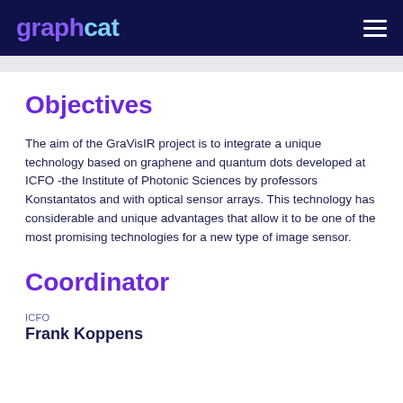graphcat
Objectives
The aim of the GraVisIR project is to integrate a unique technology based on graphene and quantum dots developed at ICFO -the Institute of Photonic Sciences by professors Konstantatos and with optical sensor arrays. This technology has considerable and unique advantages that allow it to be one of the most promising technologies for a new type of image sensor.
Coordinator
ICFO
Frank Koppens